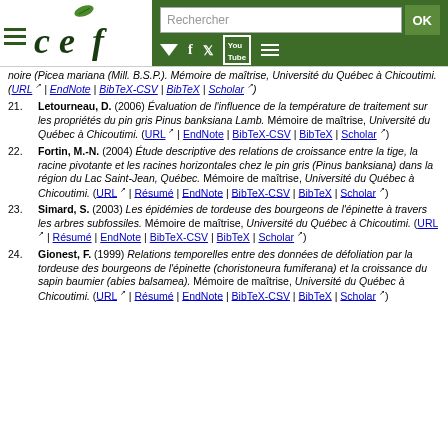[Figure (logo): CEF (Centre for Forest Research) website header with logo, hamburger menu, search bar, and social media icons on dark green background]
[partial item] noire (Picea mariana (Mill.) B.S.P.). Mémoire de maîtrise, Université du Québec à Chicoutimi. (URL | EndNote | BibTeX-CSV | BibTeX | Scholar)
21. Letourneau, D. (2006) Évaluation de l'influence de la température de traitement sur les propriétés du pin gris Pinus banksiana Lamb. Mémoire de maîtrise, Université du Québec à Chicoutimi. (URL | EndNote | BibTeX-CSV | BibTeX | Scholar)
22. Fortin, M.-N. (2004) Étude descriptive des relations de croissance entre la tige, la racine pivotante et les racines horizontales chez le pin gris (Pinus banksiana) dans la région du Lac Saint-Jean, Québec. Mémoire de maîtrise, Université du Québec à Chicoutimi. (URL | Résumé | EndNote | BibTeX-CSV | BibTeX | Scholar)
23. Simard, S. (2003) Les épidémies de tordeuse des bourgeons de l'épinette à travers les arbres subfossiles. Mémoire de maîtrise, Université du Québec à Chicoutimi. (URL | Résumé | EndNote | BibTeX-CSV | BibTeX | Scholar)
24. Gionest, F. (1999) Relations temporelles entre des données de défoliation par la tordeuse des bourgeons de l'épinette (choristoneura fumiferana) et la croissance du sapin baumier (abies balsamea). Mémoire de maîtrise, Université du Québec à Chicoutimi. (URL | Résumé | EndNote | BibTeX-CSV | BibTeX | Scholar)